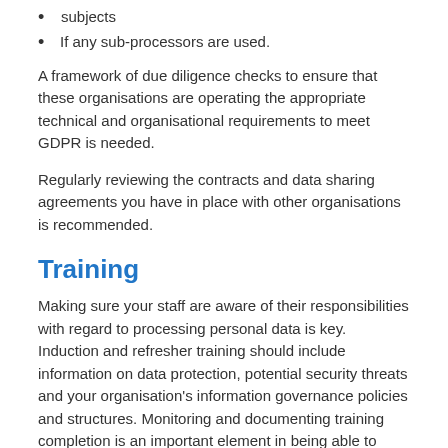subjects
If any sub-processors are used.
A framework of due diligence checks to ensure that these organisations are operating the appropriate technical and organisational requirements to meet GDPR is needed.
Regularly reviewing the contracts and data sharing agreements you have in place with other organisations is recommended.
Training
Making sure your staff are aware of their responsibilities with regard to processing personal data is key. Induction and refresher training should include information on data protection, potential security threats and your organisation's information governance policies and structures. Monitoring and documenting training completion is an important element in being able to demonstrate your compliance.